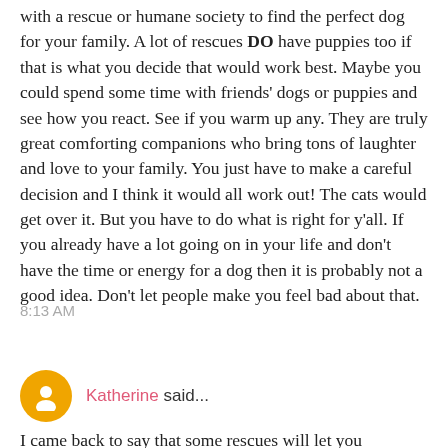with a rescue or humane society to find the perfect dog for your family. A lot of rescues DO have puppies too if that is what you decide that would work best. Maybe you could spend some time with friends' dogs or puppies and see how you react. See if you warm up any. They are truly great comforting companions who bring tons of laughter and love to your family. You just have to make a careful decision and I think it would all work out! The cats would get over it. But you have to do what is right for y'all. If you already have a lot going on in your life and don't have the time or energy for a dog then it is probably not a good idea. Don't let people make you feel bad about that.
8:13 AM
Katherine said...
I came back to say that some rescues will let you